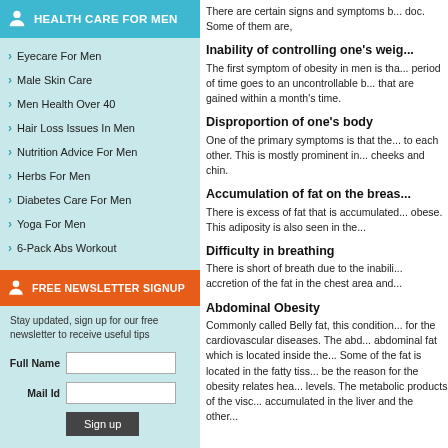HEALTH CARE FOR MEN
Eyecare For Men
Male Skin Care
Men Health Over 40
Hair Loss Issues In Men
Nutrition Advice For Men
Herbs For Men
Diabetes Care For Men
Yoga For Men
6-Pack Abs Workout
FREE NEWSLETTER SIGNUP
Stay updated, sign up for our free newsletter to receive useful tips
There are certain signs and symptoms b... doc. Some of them are,
Inability of controlling one's weig...
The first symptom of obesity in men is tha... period of time goes to an uncontrollable b... that are gained within a month's time.
Disproportion of one's body
One of the primary symptoms is that the... to each other. This is mostly prominent in... cheeks and chin.
Accumulation of fat on the breas...
There is excess of fat that is accumulated... obese. This adiposity is also seen in the...
Difficulty in breathing
There is short of breath due to the inabili... accretion of the fat in the chest area and...
Abdominal Obesity
Commonly called Belly fat, this condition... for the cardiovascular diseases. The abd... abdominal fat which is located inside the... Some of the fat is located in the fatty tiss... be the reason for the obesity relates hea... levels. The metabolic products of the visc... accumulated in the liver and the other...